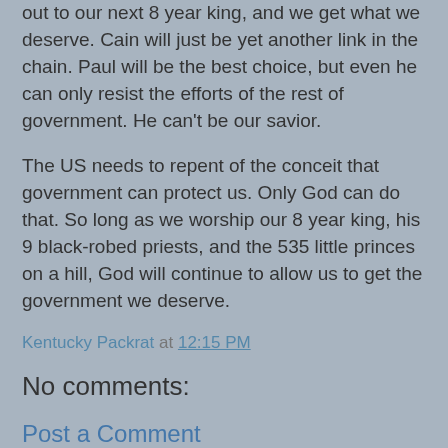out to our next 8 year king, and we get what we deserve. Cain will just be yet another link in the chain. Paul will be the best choice, but even he can only resist the efforts of the rest of government. He can't be our savior.
The US needs to repent of the conceit that government can protect us. Only God can do that. So long as we worship our 8 year king, his 9 black-robed priests, and the 535 little princes on a hill, God will continue to allow us to get the government we deserve.
Kentucky Packrat at 12:15 PM
No comments:
Post a Comment
Blogger may have an option for anonymous comments, but I don't allow them. Pick a name, any name, and stick with it.
I also reserve the right to delete any comments for any reason. My press, my rights.